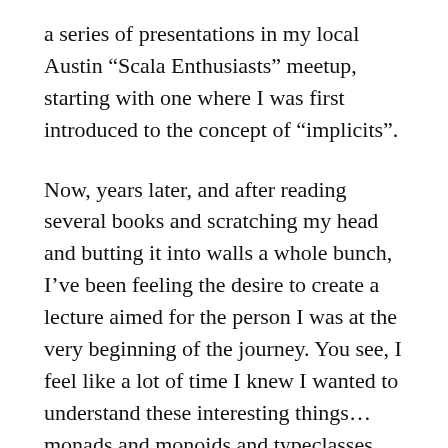a series of presentations in my local Austin “Scala Enthusiasts” meetup, starting with one where I was first introduced to the concept of “implicits”.
Now, years later, and after reading several books and scratching my head and butting it into walls a whole bunch, I’ve been feeling the desire to create a lecture aimed for the person I was at the very beginning of the journey. You see, I feel like a lot of time I knew I wanted to understand these interesting things… monads and monoids and typeclasses, but I lacked some sort of roadmap that put everything together. I would be grasping at drips and drabs of concepts, but I felt like I was lacking a sort of